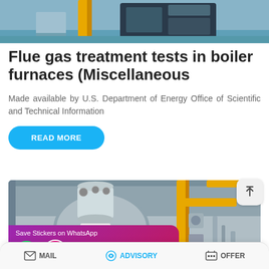[Figure (photo): Industrial boiler/furnace facility interior with yellow pipes and blue floor, partial view at top]
Flue gas treatment tests in boiler furnaces (Miscellaneous
Made available by U.S. Department of Energy Office of Scientific and Technical Information
READ MORE
[Figure (photo): Industrial boiler furnace with yellow gas pipes and cylindrical tank, with a WhatsApp sticker-saving app overlay at bottom]
MAIL   ADVISORY   OFFER